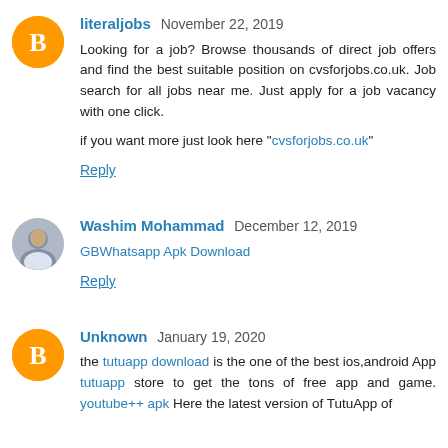literaljobs November 22, 2019
Looking for a job? Browse thousands of direct job offers and find the best suitable position on cvsforjobs.co.uk. Job search for all jobs near me. Just apply for a job vacancy with one click.
if you want more just look here "cvsforjobs.co.uk"
Reply
Washim Mohammad December 12, 2019
GBWhatsapp Apk Download
Reply
Unknown January 19, 2020
the tutuapp download is the one of the best ios,android App tutuapp store to get the tons of free app and game. youtube++ apk Here the latest version of TutuApp of